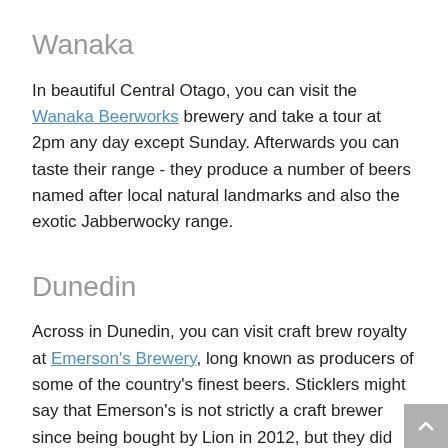Wanaka
In beautiful Central Otago, you can visit the Wanaka Beerworks brewery and take a tour at 2pm any day except Sunday. Afterwards you can taste their range - they produce a number of beers named after local natural landmarks and also the exotic Jabberwocky range.
Dunedin
Across in Dunedin, you can visit craft brew royalty at Emerson's Brewery, long known as producers of some of the country's finest beers. Sticklers might say that Emerson's is not strictly a craft brewer since being bought by Lion in 2012, but they did keep Richard Emerson on as head brewer and, so far, their range of outstanding beers does not seem to have suffered. Add to that the opening of an Emerson's brewpub in 2016, and it is well worth a stop